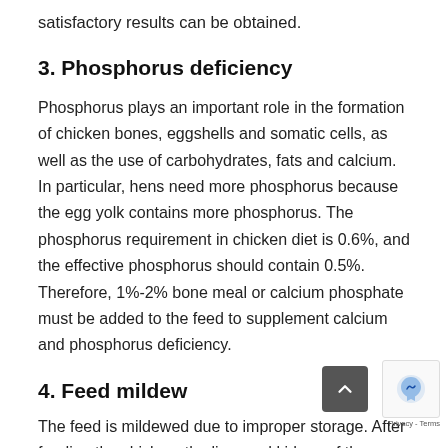satisfactory results can be obtained.
3. Phosphorus deficiency
Phosphorus plays an important role in the formation of chicken bones, eggshells and somatic cells, as well as the use of carbohydrates, fats and calcium. In particular, hens need more phosphorus because the egg yolk contains more phosphorus. The phosphorus requirement in chicken diet is 0.6%, and the effective phosphorus should contain 0.5%. Therefore, 1%-2% bone meal or calcium phosphate must be added to the feed to supplement calcium and phosphorus deficiency.
4. Feed mildew
The feed is mildewed due to improper storage. After feeding the chicken, the liver and kidney of the chicken